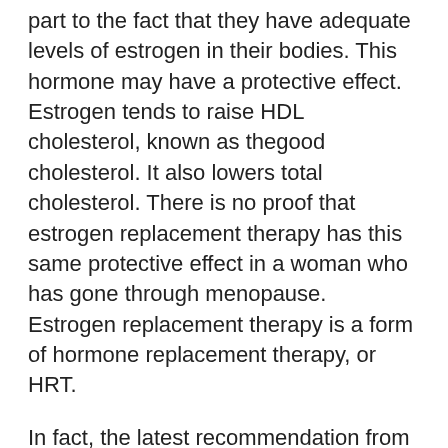part to the fact that they have adequate levels of estrogen in their bodies. This hormone may have a protective effect. Estrogen tends to raise HDL cholesterol, known as thegood cholesterol. It also lowers total cholesterol. There is no proof that estrogen replacement therapy has this same protective effect in a woman who has gone through menopause. Estrogen replacement therapy is a form of hormone replacement therapy, or HRT.
In fact, the latest recommendation from the American Heart Association, or AHA, does not advise starting HRT for the sole purpose of preventing heart disease. There is not enough data to support this. This same advisory issued by the AHA in 2001 recommends that women who already have heart disease should not be started on HRT. In fact, a recent study has even shown that if HRT is started after a woman has a heart attack, she may be at a higher risk for worsening of